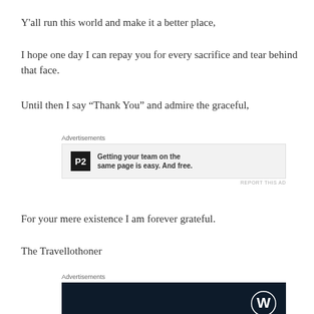Y'all run this world and make it a better place,
I hope one day I can repay you for every sacrifice and tear behind that face.
Until then I say “Thank You” and admire the graceful,
[Figure (screenshot): Advertisement banner for P2: a dark square logo with letter P2, text reads 'Getting your team on the same page is easy. And free.']
For your mere existence I am forever grateful.
The Travellothoner
[Figure (screenshot): Advertisement banner showing dark navy background with WordPress logo (W in circle) on the right side.]